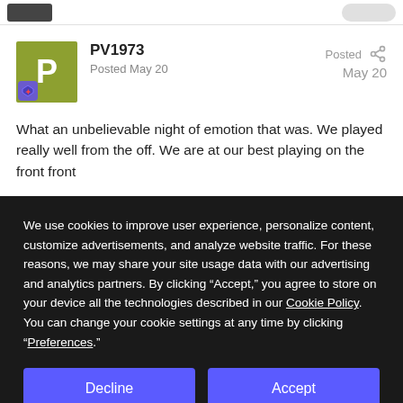PV1973
Posted May 20
What an unbelievable night of emotion that was. We played really well from the off. We are at our best playing on the front front
We use cookies to improve user experience, personalize content, customize advertisements, and analyze website traffic. For these reasons, we may share your site usage data with our advertising and analytics partners. By clicking “Accept,” you agree to store on your device all the technologies described in our Cookie Policy. You can change your cookie settings at any time by clicking “Preferences.”
Decline
Accept
Preferences